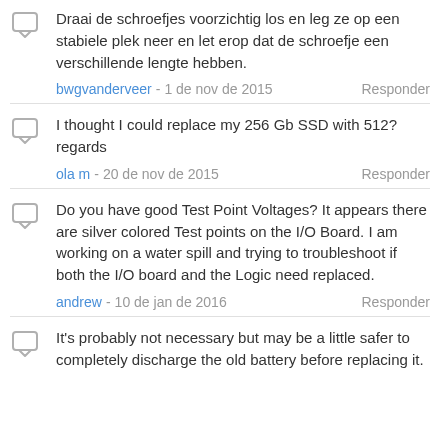Draai de schroefjes voorzichtig los en leg ze op een stabiele plek neer en let erop dat de schroefje een verschillende lengte hebben.
bwgvanderveer - 1 de nov de 2015  Responder
I thought I could replace my 256 Gb SSD with 512? regards
ola m - 20 de nov de 2015  Responder
Do you have good Test Point Voltages? It appears there are silver colored Test points on the I/O Board. I am working on a water spill and trying to troubleshoot if both the I/O board and the Logic need replaced.
andrew - 10 de jan de 2016  Responder
It's probably not necessary but may be a little safer to completely discharge the old battery before replacing it.